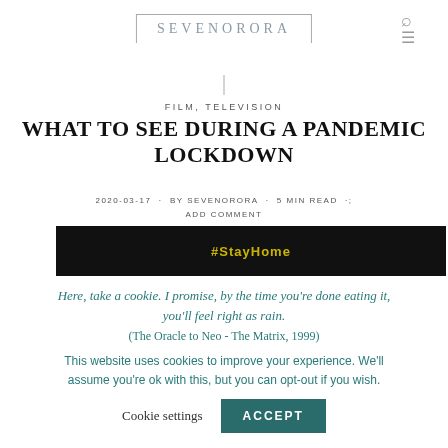SEVENORORA
FILM, TELEVISION
WHAT TO SEE DURING A PANDEMIC LOCKDOWN
2020-03-17 · BY SEVENORORA · 5 MIN READ · ADD COMMENT
[Figure (photo): Dark banner image with #StayHome text in yellow]
Here, take a cookie. I promise, by the time you're done eating it, you'll feel right as rain.
(The Oracle to Neo - The Matrix, 1999)
This website uses cookies to improve your experience. We'll assume you're ok with this, but you can opt-out if you wish.
Cookie settings   ACCEPT